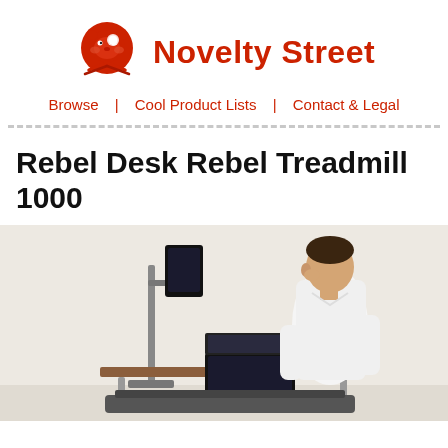Novelty Street
Browse | Cool Product Lists | Contact & Legal
Rebel Desk Rebel Treadmill 1000
[Figure (photo): Man in white shirt walking on a treadmill desk, with a monitor on a stand and a laptop on the desk surface, against a light beige wall.]